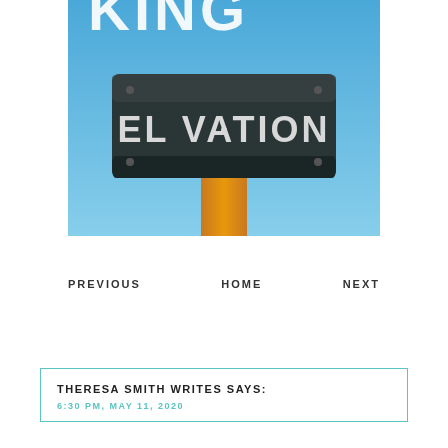[Figure (photo): Book cover for 'Elevation' showing a dark mailbox sign with 'EL VATION' written on it in white letters, mounted on an orange post against a blue sky background. The top of the image shows partial large letters.]
PREVIOUS    HOME    NEXT
THERESA SMITH WRITES SAYS:
6:30 PM, MAY 11, 2020